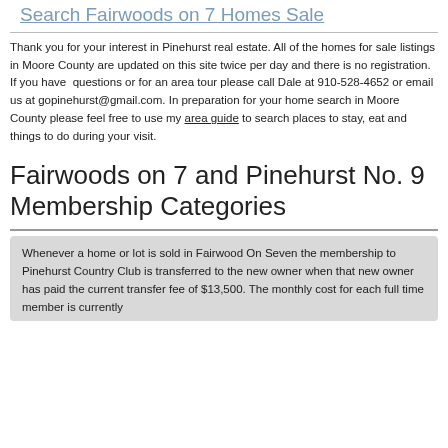Search Fairwoods on 7 Homes Sale
Thank you for your interest in Pinehurst real estate. All of the homes for sale listings in Moore County are updated on this site twice per day and there is no registration. If you have questions or for an area tour please call Dale at 910-528-4652 or email us at gopinehurst@gmail.com. In preparation for your home search in Moore County please feel free to use my area guide to search places to stay, eat and things to do during your visit.
Fairwoods on 7 and Pinehurst No. 9 Membership Categories
Whenever a home or lot is sold in Fairwood On Seven the membership to Pinehurst Country Club is transferred to the new owner when that new owner has paid the current transfer fee of $13,500. The monthly cost for each full time member is currently